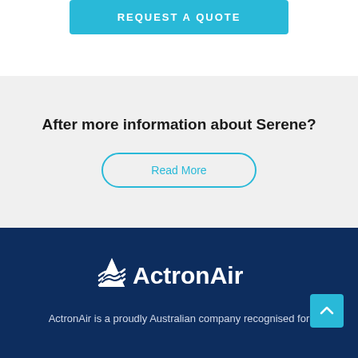[Figure (other): Cyan/teal 'REQUEST A QUOTE' button at the top of the page]
After more information about Serene?
[Figure (other): 'Read More' button with cyan outline border, rounded pill shape]
[Figure (logo): ActronAir logo in white on dark navy background, with mountain/wave icon to the left of the text]
ActronAir is a proudly Australian company recognised for